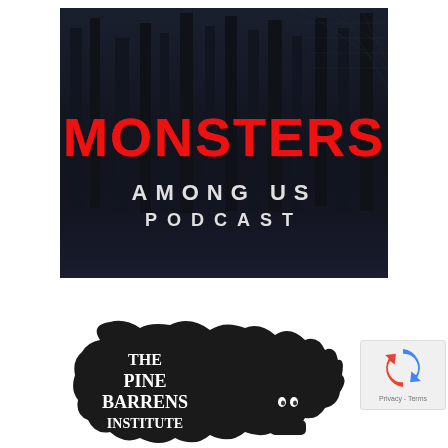[Figure (illustration): Monsters Among Us Podcast logo: dark forest background with tall trees and spider web, large bold red text 'MONSTERS' and white text 'AMONG US PODCAST' below]
[Figure (logo): The Pine Barrens Institute logo: black silhouette shape with white handwritten-style text 'THE PINE BARRENS INSTITUTE' and a ghost-like creature illustration]
[Figure (other): Google reCAPTCHA widget with blue and red arrow icon and 'Privacy - Terms' text]